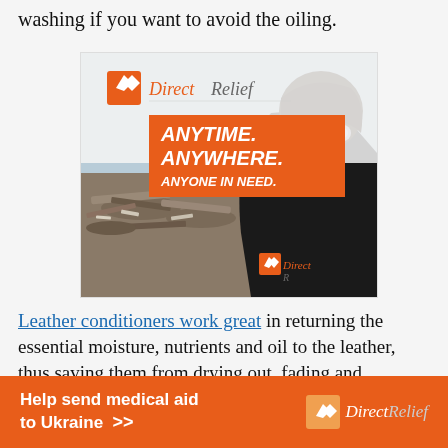washing if you want to avoid the oiling.
[Figure (advertisement): Direct Relief advertisement with orange background text reading 'ANYTIME. ANYWHERE. ANYONE IN NEED.' and a photo of a person in a black Direct Relief jacket looking over a disaster scene with debris]
Leather conditioners work great in returning the essential moisture, nutrients and oil to the leather, thus saving them from drying out, fading and developing creases and cracks.
[Figure (advertisement): Direct Relief banner advertisement in orange: 'Help send medical aid to Ukraine >>' with Direct Relief logo in white]